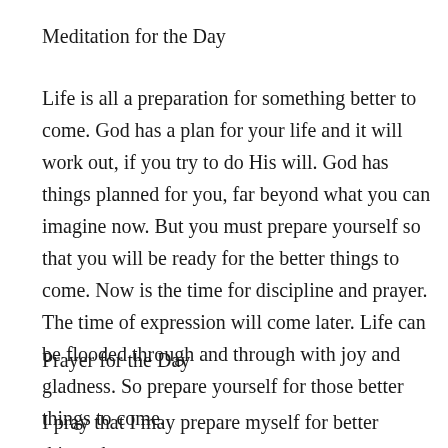Meditation for the Day
Life is all a preparation for something better to come. God has a plan for your life and it will work out, if you try to do His will. God has things planned for you, far beyond what you can imagine now. But you must prepare yourself so that you will be ready for the better things to come. Now is the time for discipline and prayer. The time of expression will come later. Life can be flooded through and through with joy and gladness. So prepare yourself for those better things to come.
Prayer for the Day
I pray that I may prepare myself for better things that